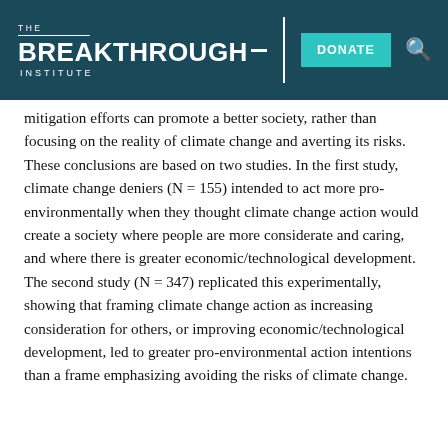THE BREAKTHROUGH INSTITUTE | DONATE
mitigation efforts can promote a better society, rather than focusing on the reality of climate change and averting its risks. These conclusions are based on two studies. In the first study, climate change deniers (N = 155) intended to act more pro-environmentally when they thought climate change action would create a society where people are more considerate and caring, and where there is greater economic/technological development. The second study (N = 347) replicated this experimentally, showing that framing climate change action as increasing consideration for others, or improving economic/technological development, led to greater pro-environmental action intentions than a frame emphasizing avoiding the risks of climate change.